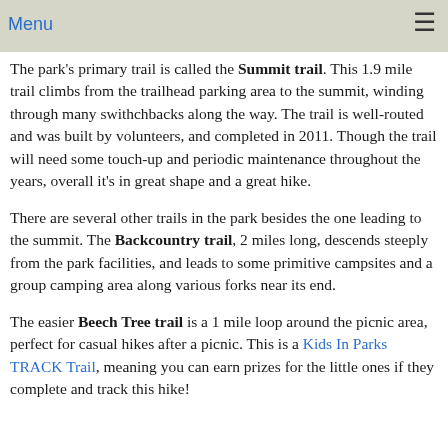Menu
The park's primary trail is called the Summit trail. This 1.9 mile trail climbs from the trailhead parking area to the summit, winding through many swithchbacks along the way. The trail is well-routed and was built by volunteers, and completed in 2011. Though the trail will need some touch-up and periodic maintenance throughout the years, overall it's in great shape and a great hike.
There are several other trails in the park besides the one leading to the summit. The Backcountry trail, 2 miles long, descends steeply from the park facilities, and leads to some primitive campsites and a group camping area along various forks near its end.
The easier Beech Tree trail is a 1 mile loop around the picnic area, perfect for casual hikes after a picnic. This is a Kids In Parks TRACK Trail, meaning you can earn prizes for the little ones if they complete and track this hike!